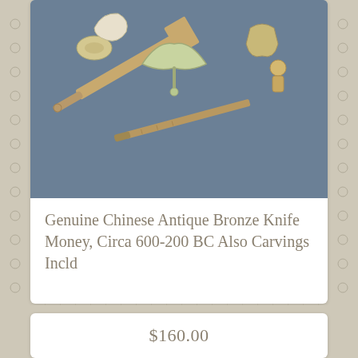[Figure (photo): Photo of Chinese antique bronze knife money artifacts and jade carvings arranged on a blue cloth background]
Genuine Chinese Antique Bronze Knife Money, Circa 600-200 BC Also Carvings Incld
$160.00
[Figure (photo): Photo of a white porcelain pitcher/jug with colorful floral designs in pink, red, green and orange on a gray background]